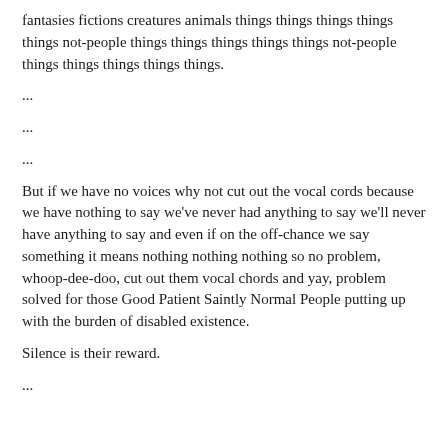fantasies fictions creatures animals things things things things things not-people things things things things things not-people things things things things things.
...
...
...
But if we have no voices why not cut out the vocal cords because we have nothing to say we've never had anything to say we'll never have anything to say and even if on the off-chance we say something it means nothing nothing nothing so no problem, whoop-dee-doo, cut out them vocal chords and yay, problem solved for those Good Patient Saintly Normal People putting up with the burden of disabled existence.
Silence is their reward.
...